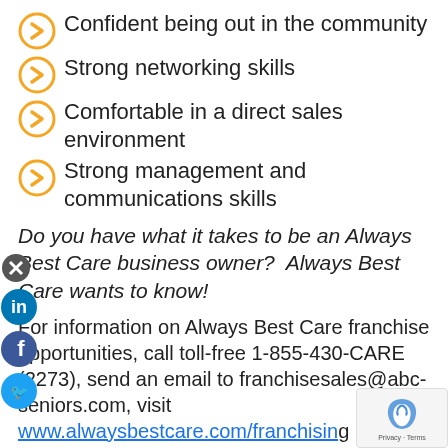Confident being out in the community
Strong networking skills
Comfortable in a direct sales environment
Strong management and communications skills
Do you have what it takes to be an Always Best Care business owner? Always Best Care wants to know!
For information on Always Best Care franchise opportunities, call toll-free 1-855-430-CARE (2273), send an email to franchisesales@abc-seniors.com, visit www.alwaysbestcare.com/franchising download our free download a FREE copy of our comprehensive franchising eBook today!